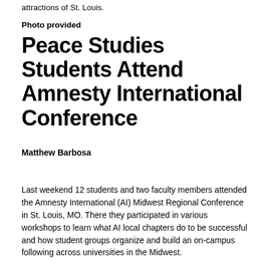attractions of St. Louis.
Photo provided
Peace Studies Students Attend Amnesty International Conference
Matthew Barbosa
Last weekend 12 students and two faculty members attended the Amnesty International (AI) Midwest Regional Conference in St. Louis, MO. There they participated in various workshops to learn what AI local chapters do to be successful and how student groups organize and build an on-campus following across universities in the Midwest.
One of AI's campaigns is “Write4Rights,” through which members of AI write letters to help prisoners of conscience, POC, be released from prison. Nguyễn Ngọc Như Quỳnh, or Mother Mushroom, a Vietnamese blogger and outspoken dissident of the Socialist Republic of Vietnam for their violations of human rights and corruption, was recently released